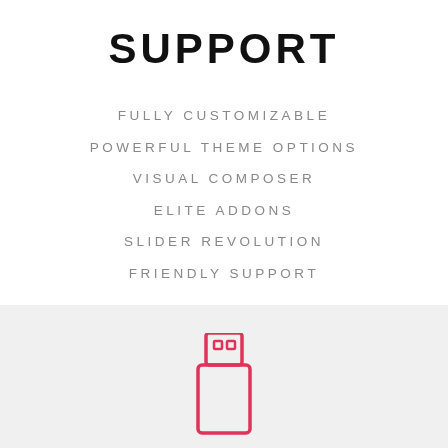SUPPORT
FULLY CUSTOMIZABLE
POWERFUL THEME OPTIONS
VISUAL COMPOSER
ELITE ADDONS
SLIDER REVOLUTION
FRIENDLY SUPPORT
[Figure (illustration): USB flash drive icon outline in pink/red color on light gray background]